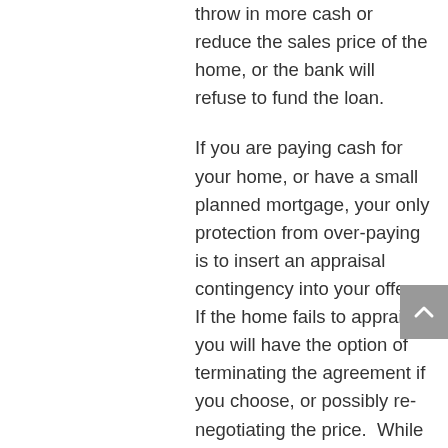throw in more cash or reduce the sales price of the home, or the bank will refuse to fund the loan.
If you are paying cash for your home, or have a small planned mortgage, your only protection from over-paying is to insert an appraisal contingency into your offer. If the home fails to appraise, you will have the option of terminating the agreement if you choose, or possibly re-negotiating the price.  While this may sound like a fool-proof option, when we are in a hot market, with limited inventory and limited options for buyers, the goal is to reduce the number of contingencies to make your offer more